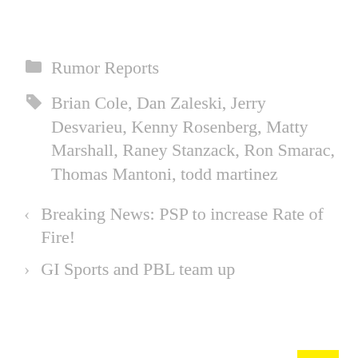Rumor Reports
Brian Cole, Dan Zaleski, Jerry Desvarieu, Kenny Rosenberg, Matty Marshall, Raney Stanzack, Ron Smarac, Thomas Mantoni, todd martinez
Breaking News: PSP to increase Rate of Fire!
GI Sports and PBL team up